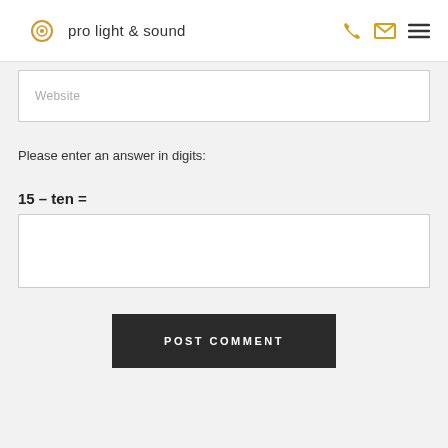pro light & sound
Website
Please enter an answer in digits:
POST COMMENT